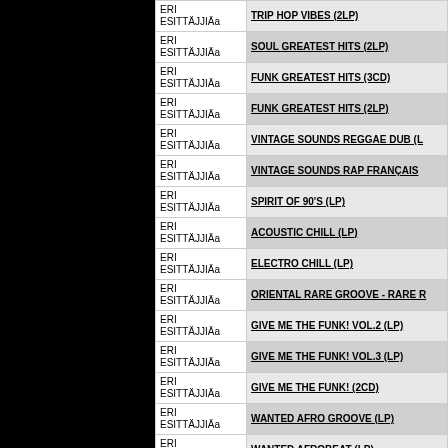| Artist | Title |
| --- | --- |
| ERI ESITTÄJJIÄ | TRIP HOP VIBES (2LP) |
| ERI ESITTÄJJIÄ | SOUL GREATEST HITS (2LP) |
| ERI ESITTÄJJIÄ | FUNK GREATEST HITS (3CD) |
| ERI ESITTÄJJIÄ | FUNK GREATEST HITS (2LP) |
| ERI ESITTÄJJIÄ | VINTAGE SOUNDS REGGAE DUB (L... |
| ERI ESITTÄJJIÄ | VINTAGE SOUNDS RAP FRANÇAIS |
| ERI ESITTÄJJIÄ | SPIRIT OF 90'S (LP) |
| ERI ESITTÄJJIÄ | ACOUSTIC CHILL (LP) |
| ERI ESITTÄJJIÄ | ELECTRO CHILL (LP) |
| ERI ESITTÄJJIÄ | ORIENTAL RARE GROOVE - RARE R... |
| ERI ESITTÄJJIÄ | GIVE ME THE FUNK! VOL.2 (LP) |
| ERI ESITTÄJJIÄ | GIVE ME THE FUNK! VOL.3 (LP) |
| ERI ESITTÄJJIÄ | GIVE ME THE FUNK! (2CD) |
| ERI ESITTÄJJIÄ | WANTED AFRO GROOVE (LP) |
| ERI ESITTÄJJIÄ | WANTED AFROBEAT (LP) |
| ERI ESITTÄJJIÄ | WANTED FUNKY SOUL (LP) |
| ERI ESITTÄJJIÄ | WANTED HIP-HOP (LP) |
| ERI ESITTÄJJIÄ | WANTED JAZZ - VOL. 1 (LP) |
| ERI | AFRO TIMELESS CLASSICS (2... |